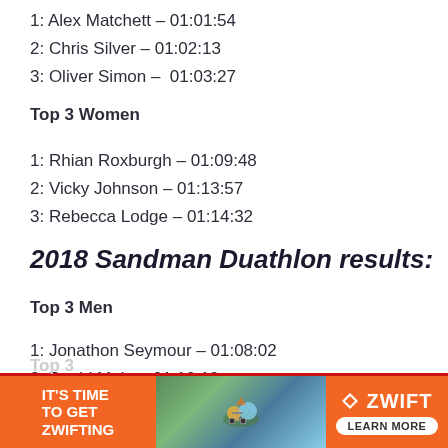1: Alex Matchett – 01:01:54
2: Chris Silver – 01:02:13
3: Oliver Simon –  01:03:27
Top 3 Women
1: Rhian Roxburgh – 01:09:48
2: Vicky Johnson – 01:13:57
3: Rebecca Lodge – 01:14:32
2018 Sandman Duathlon results:
Top 3 Men
1: Jonathon Seymour – 01:08:02
2: David Mole – 01:10:10
3: Gwynedd Jones 01:10:35
[Figure (infographic): Zwift advertisement banner at bottom of page with orange background, 'IT'S TIME TO GET ZWIFTING' text, cycling image, and Zwift logo with Learn More button]
Top 3